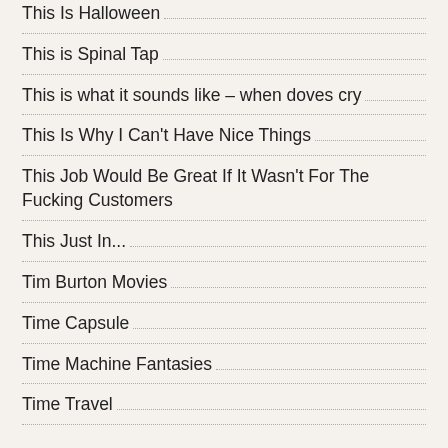This Is Halloween
This is Spinal Tap
This is what it sounds like – when doves cry
This Is Why I Can't Have Nice Things
This Job Would Be Great If It Wasn't For The Fucking Customers
This Just In...
Tim Burton Movies
Time Capsule
Time Machine Fantasies
Time Travel